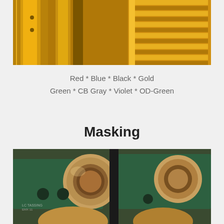[Figure (photo): Gold anodized aluminum cylindrical parts with threaded and ridged surfaces photographed close-up]
Red * Blue * Black * Gold
Green * CB Gray * Violet * OD-Green
Masking
[Figure (photo): Machined metal parts with green anodized frames and bronze/gold colored circular components arranged for masking during anodizing process]